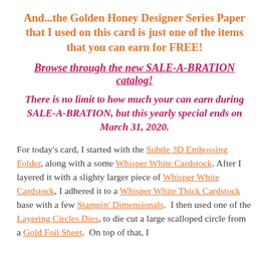And...the Golden Honey Designer Series Paper that I used on this card is just one of the items that you can earn for FREE!
Browse through the new SALE-A-BRATION catalog!
There is no limit to how much your can earn during SALE-A-BRATION, but this yearly special ends on March 31, 2020.
For today's card, I started with the Subtle 3D Embossing Folder, along with a some Whisper White Cardstock. After I layered it with a slighty larger piece of Whisper White Cardstock, I adhered it to a Whisper White Thick Cardstock base with a few Stampin' Dimensionals. I then used one of the Layering Circles Dies, to die cut a large scalloped circle from a Gold Foil Sheet. On top of that, I